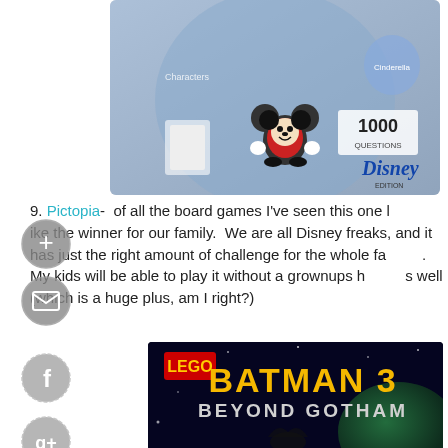[Figure (photo): Disney Pictopia board game box featuring 1000 questions and various Disney characters including Mickey Mouse, Cinderella, and others.]
9. Pictopia-  of all the board games I've seen this one looks like the winner for our family.  We are all Disney freaks, and it has just the right amount of challenge for the whole family.  My kids will be able to play it without a grownups help as well (which is a huge plus, am I right?)
[Figure (photo): LEGO Batman 3: Beyond Gotham game cover art featuring Batman and space-themed imagery.]